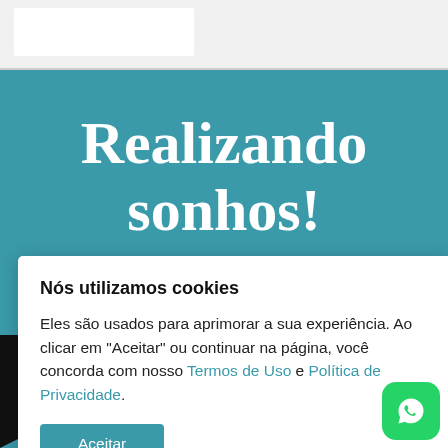[Figure (screenshot): Website header bar with white logo placeholder on grey background]
Realizando sonhos!
Nós utilizamos cookies
Eles são usados para aprimorar a sua experiência. Ao clicar em "Aceitar" ou continuar na página, você concorda com nosso Termos de Uso e Política de Privacidade.
Aceitar